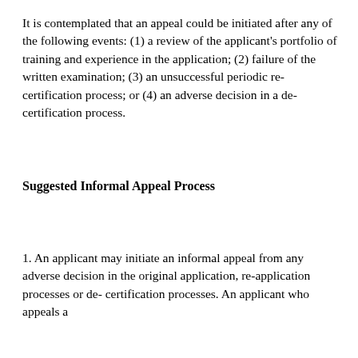It is contemplated that an appeal could be initiated after any of the following events: (1) a review of the applicant's portfolio of training and experience in the application; (2) failure of the written examination; (3) an unsuccessful periodic re-certification process; or (4) an adverse decision in a de-certification process.
Suggested Informal Appeal Process
1. An applicant may initiate an informal appeal from any adverse decision in the original application, re-application processes or de-certification processes. An applicant who appeals a